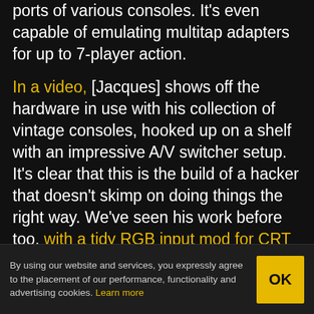ports of various consoles. It's even capable of emulating multitap adapters for up to 7-player action.
In a video, [Jacques] shows off the hardware in use with his collection of vintage consoles, hooked up on a shelf with an impressive A/V switcher setup. It's clear that this is the build of a hacker that doesn't skimp on doing things the right way. We've seen his work before too, with a tidy RGB input mod for CRT TVs. Video after the break.
The HackadayPrize2020 is Sponsored
By using our website and services, you expressly agree to the placement of our performance, functionality and advertising cookies. Learn more